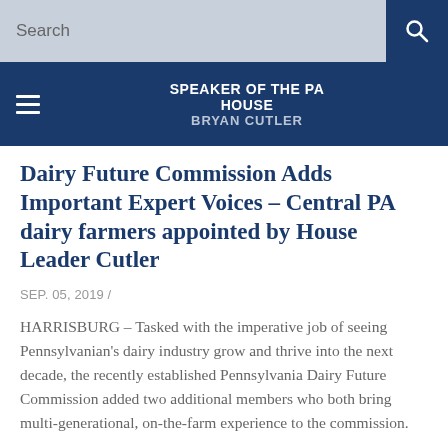Search
SPEAKER OF THE PA HOUSE
BRYAN CUTLER
Dairy Future Commission Adds Important Expert Voices – Central PA dairy farmers appointed by House Leader Cutler
SEP. 05, 2019 /
HARRISBURG – Tasked with the imperative job of seeing Pennsylvanian's dairy industry grow and thrive into the next decade, the recently established Pennsylvania Dairy Future Commission added two additional members who both bring multi-generational, on-the-farm experience to the commission.